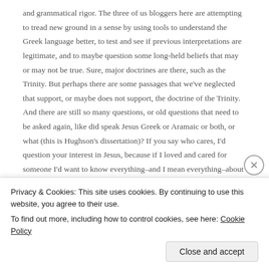and grammatical rigor. The three of us bloggers here are attempting to tread new ground in a sense by using tools to understand the Greek language better, to test and see if previous interpretations are legitimate, and to maybe question some long-held beliefs that may or may not be true. Sure, major doctrines are there, such as the Trinity. But perhaps there are some passages that we've neglected that support, or maybe does not support, the doctrine of the Trinity. And there are still so many questions, or old questions that need to be asked again, like did speak Jesus Greek or Aramaic or both, or what (this is Hughson's dissertation)? If you say who cares, I'd question your interest in Jesus, because if I loved and cared for someone I'd want to know everything–and I mean everything–about them.
Privacy & Cookies: This site uses cookies. By continuing to use this website, you agree to their use.
To find out more, including how to control cookies, see here: Cookie Policy